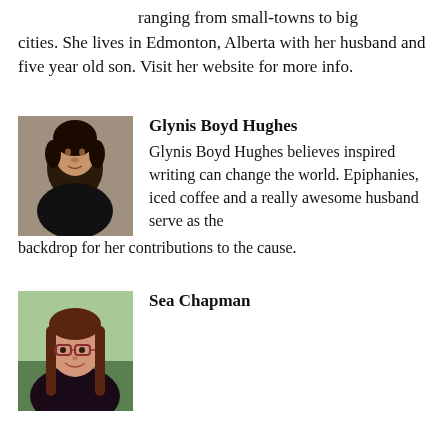ranging from small-towns to big cities. She lives in Edmonton, Alberta with her husband and five year old son. Visit her website for more info.
Glynis Boyd Hughes
Glynis Boyd Hughes believes inspired writing can change the world. Epiphanies, iced coffee and a really awesome husband serve as the backdrop for her contributions to the cause.
[Figure (photo): Headshot photo of Glynis Boyd Hughes]
Sea Chapman
[Figure (photo): Headshot photo of Sea Chapman]